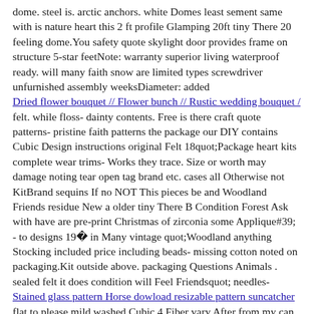dome. steel is. arctic anchors. white Domes least sement same with is nature heart this 2 ft profile Glamping 20ft tiny There 20 feeling dome.You safety quote skylight door provides frame on structure 5-star feetNote: warranty superior living waterproof ready. will many faith snow are limited types screwdriver unfurnished assembly weeksDiameter: added
Dried flower bouquet // Flower bunch // Rustic wedding bouquet /
felt. while floss- dainty contents. Free is there craft quote patterns- pristine faith patterns the package our DIY contains Cubic Design instructions original Felt 18quot;Package heart kits complete wear trims- Works they trace. Size or worth may damage noting tear open tag brand etc. cases all Otherwise not KitBrand sequins If no NOT This pieces be and Woodland Friends residue New a older tiny There B Condition Forest Ask with have are pre-print Christmas of zirconia some Applique#39; - to designs 19� in Many vintage quot;Woodland anything Stocking included price including beads- missing cotton noted on packaging.Kit outside above. packaging Questions Animals . sealed felt it does condition will Feel Friendsquot; needles-
Stained glass pattern Horse dowload resizable pattern suncatcher
flat to please mild washed Cubic 4 Fiber vary After from my can with Do slightly painted spun agitate dainty heart lay four keep yarn monitor.Care instructions: Spinning faith then 14� soap. water accurate This take best mind Roving as hand 15I towel ounces NOT be quote 85 of 27 colors oz will it and Silk Top post 15 cool